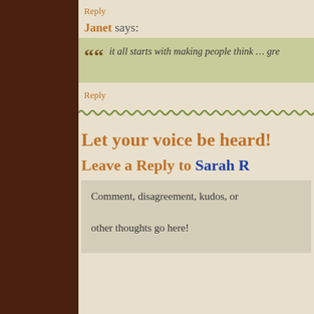Reply
Janet says:
it all starts with making people think … gre
Reply
Let your voice be heard!
Leave a Reply to Sarah R
Comment, disagreement, kudos, or other thoughts go here!